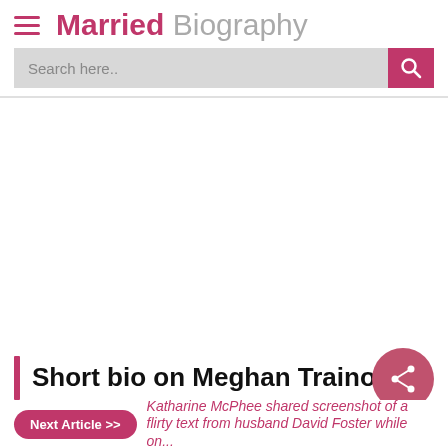Married Biography
Search here..
Short bio on Meghan Trainor
Next Article >> Katharine McPhee shared screenshot of a flirty text from husband David Foster while on...